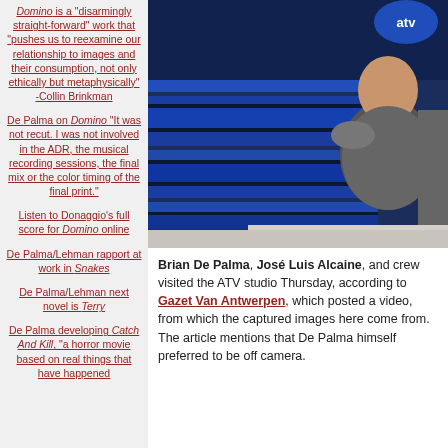Domino is a "disarmingly straight-forward" work that "pushes us to reexamine our relationship to images and their consumption, not only ethically but metaphysically" -Collin Brinkman
De Palma on Domino "It was not recut. I was not involved in the ADR, the musical recording sessions, the final mix or the color timing of the final print."
Listen to Donaggio's full score for Domino online
De Palma/Lehman rapport at work in Snakes
De Palma/Lehman next novel is Terry
De Palma developing Catch And Kill, "a horror movie based on real things that have happened
[Figure (photo): Photo of Brian De Palma and crew at the ATV studio, showing a man in a grey shirt in front of blue-lit studio screens with an atv logo visible.]
Brian De Palma, José Luis Alcaine, and crew visited the ATV studio Thursday, according to Gazet Van Antwerpen, which posted a video, from which the captured images here come from. The article mentions that De Palma himself preferred to be off camera.